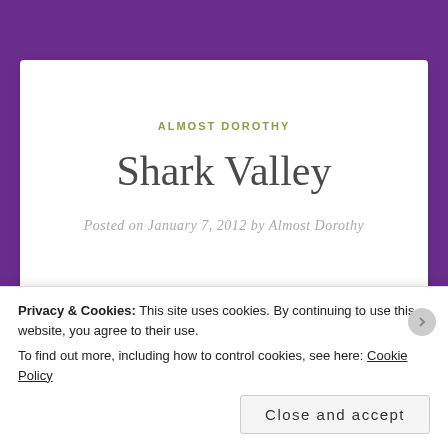ALMOST DOROTHY
Shark Valley
Posted on January 7, 2012 by Almost Dorothy
[Figure (illustration): Pink watercolor-style blob/shape illustration at bottom left of white card area]
Privacy & Cookies: This site uses cookies. By continuing to use this website, you agree to their use. To find out more, including how to control cookies, see here: Cookie Policy
Close and accept